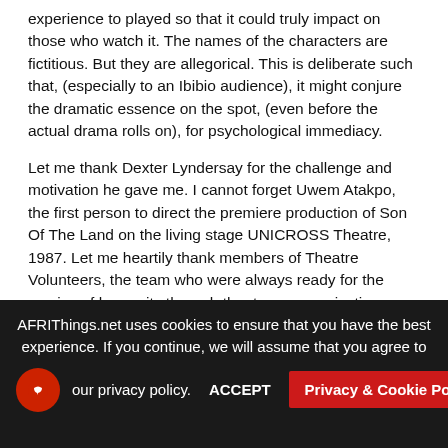experience to played so that it could truly impact on those who watch it. The names of the characters are fictitious. But they are allegorical. This is deliberate such that, (especially to an Ibibio audience), it might conjure the dramatic essence on the spot, (even before the actual drama rolls on), for psychological immediacy.
Let me thank Dexter Lyndersay for the challenge and motivation he gave me. I cannot forget Uwem Atakpo, the first person to direct the premiere production of Son Of The Land on the living stage UNICROSS Theatre, 1987. Let me heartily thank members of Theatre Volunteers, the team who were always ready for the service of humanity through theatre communication. Lastly, I most profoundly acknowledge all those I interviewed indirectly in my investigative bid to get to the roots of Peter's insanity. Thank you so much. May the tragic experience which Peter had be the very last in our
AFRIThings.net uses cookies to ensure that you have the best experience. If you continue, we will assume that you agree to our privacy policy.
ACCEPT
Privacy & Cookie Policy